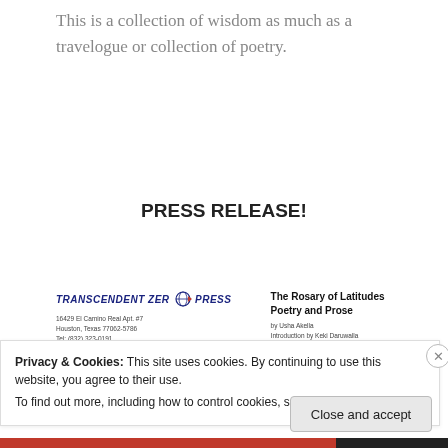This is a collection of wisdom as much as a travelogue or collection of poetry.
PRESS RELEASE!
[Figure (logo): Transcendent Zero Press logo with a compass/globe icon between 'TRANSCENDENT ZER' and 'PRESS', in bold italic dark blue text]
16429 El Camino Real Apt. #7
Houston, Texas 77062-5786
Tel: (832) 323-0191
www.transcendentzeropressorg
The Rosary of Latitudes Poetry and Prose
by Usha Akella
Introduction by Keki Daruwalla
Afterword by Ravi Shankar
Privacy & Cookies: This site uses cookies. By continuing to use this website, you agree to their use.
To find out more, including how to control cookies, see here: Cookie Policy
Close and accept